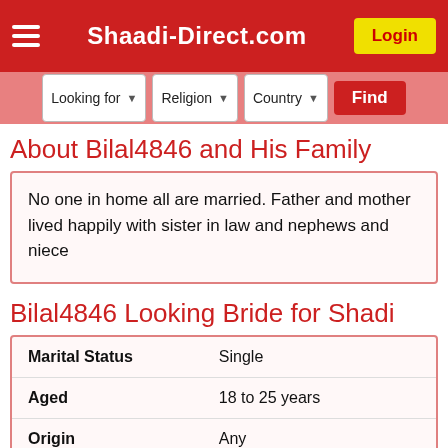Shaadi-Direct.com
About Bilal4846 and His Family
No one in home all are married. Father and mother lived happily with sister in law and nephews and niece
Bilal4846 Looking Bride for Shadi
|  |  |
| --- | --- |
| Marital Status | Single |
| Aged | 18 to 25 years |
| Origin | Any |
| Children | None |
| Religion | Any |